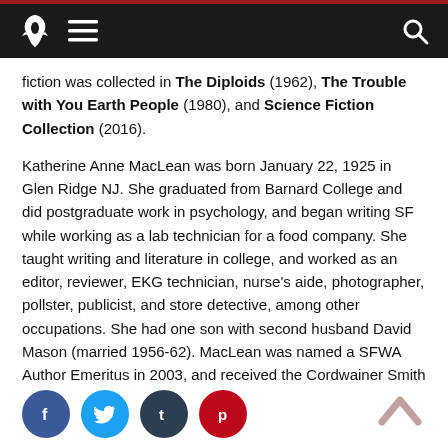Navigation bar with rocket logo, hamburger menu, and search icon
fiction was collected in The Diploids (1962), The Trouble with You Earth People (1980), and Science Fiction Collection (2016).
Katherine Anne MacLean was born January 22, 1925 in Glen Ridge NJ. She graduated from Barnard College and did postgraduate work in psychology, and began writing SF while working as a lab technician for a food company. She taught writing and literature in college, and worked as an editor, reviewer, EKG technician, nurse's aide, photographer, pollster, publicist, and store detective, among other occupations. She had one son with second husband David Mason (married 1956-62). MacLean was named a SFWA Author Emeritus in 2003, and received the Cordwainer Smith Rediscovery Award in 2011.
[Figure (infographic): Social sharing buttons: Facebook (blue circle), Twitter (light blue circle), Tumblr (dark circle), Pinterest (red circle)]